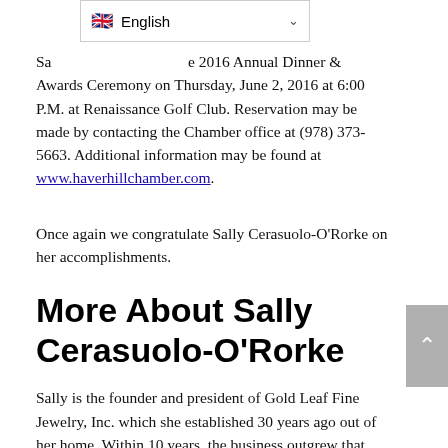[Figure (screenshot): Language selector dropdown showing UK flag and 'English' with a chevron/dropdown arrow]
Sa[lly...] e 2016 Annual Dinner & Awards Ceremony on Thursday, June 2, 2016 at 6:00 P.M. at Renaissance Golf Club. Reservation may be made by contacting the Chamber office at (978) 373-5663. Additional information may be found at www.haverhillchamber.com.
Once again we congratulate Sally Cerasuolo-O'Rorke on her accomplishments.
More About Sally Cerasuolo-O'Rorke
Sally is the founder and president of Gold Leaf Fine Jewelry, Inc. which she established 30 years ago out of her home. Within 10 years, the business outgrew that space and she moved the company to its current location at 800 Broadway in Haverhill. In 1998, while still operating Gold Leaf, she was named president and CEO of the Greater Haverhill Chamber of Commerce. She was initially appointed to a one-year contract to stabilize...